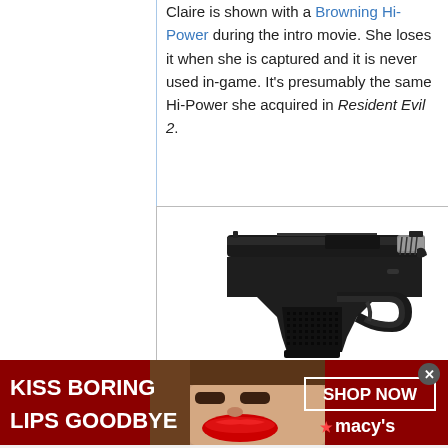Claire is shown with a Browning Hi-Power during the intro movie. She loses it when she is captured and it is never used in-game. It's presumably the same Hi-Power she acquired in Resident Evil 2.
[Figure (photo): A Browning Hi-Power semi-automatic pistol photographed on a white background, showing the left side of the dark/black firearm with checkered grip panels.]
[Figure (photo): Advertisement banner for Macy's cosmetics featuring a close-up of a woman's face with red lips. Text reads 'KISS BORING LIPS GOODBYE' on the left and 'SHOP NOW' with Macy's star logo on the right.]